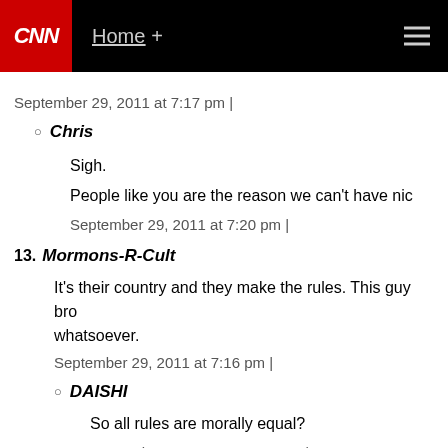CNN  Home +
September 29, 2011 at 7:17 pm |
Chris
Sigh.
People like you are the reason we can't have nic
September 29, 2011 at 7:20 pm |
13. Mormons-R-Cult
It's their country and they make the rules. This guy bro whatsoever.
September 29, 2011 at 7:16 pm |
DAISHI
So all rules are morally equal?
September 29, 2011 at 7:18 pm |